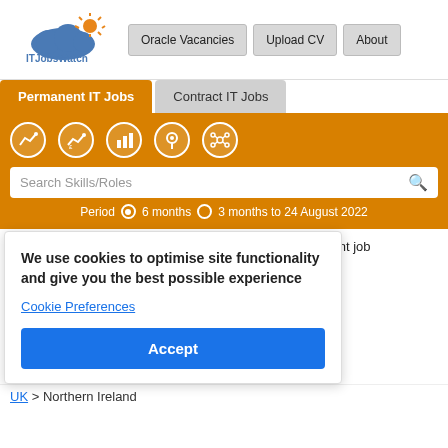[Figure (logo): ITJobsWatch logo with cloud and sun icon above text ITJobsWatch]
Oracle Vacancies | Upload CV | About
Permanent IT Jobs | Contract IT Jobs
[Figure (infographic): Five white circle icons on orange background: trend chart, salary chart, bar chart, location pin, network/skills graph]
Search Skills/Roles
Period  6 months  3 months to 24 August 2022
The table below provides summary statistics for permanent job ... or ... s. ... acancies ... with a ... and are
We use cookies to optimise site functionality and give you the best possible experience
Cookie Preferences
Accept
UK > Northern Ireland